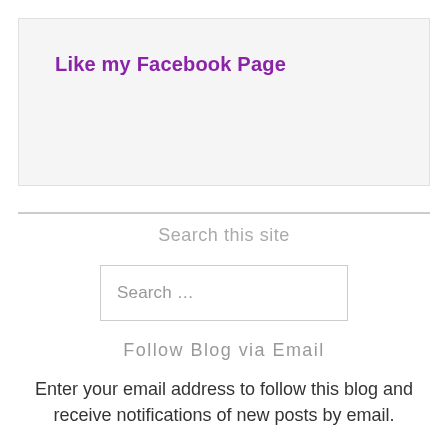Like my Facebook Page
Search this site
Search ...
Follow Blog via Email
Enter your email address to follow this blog and receive notifications of new posts by email.